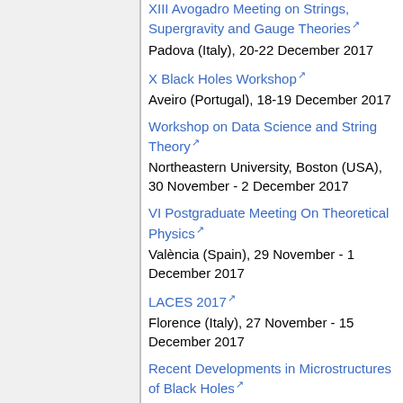XIII Avogadro Meeting on Strings, Supergravity and Gauge Theories
Padova (Italy), 20-22 December 2017
X Black Holes Workshop
Aveiro (Portugal), 18-19 December 2017
Workshop on Data Science and String Theory
Northeastern University, Boston (USA), 30 November - 2 December 2017
VI Postgraduate Meeting On Theoretical Physics
València (Spain), 29 November - 1 December 2017
LACES 2017
Florence (Italy), 27 November - 15 December 2017
Recent Developments in Microstructures of Black Holes
Kyoto (Japan), 20-24 November 2017